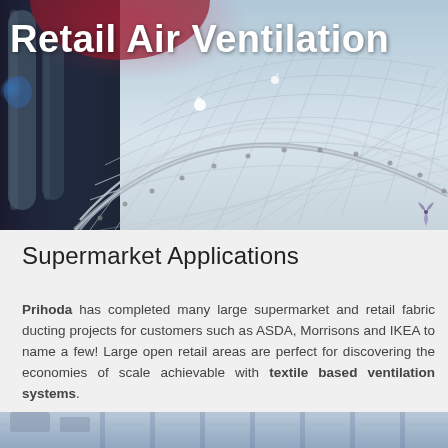[Figure (photo): Interior architectural photo of a large retail space with a geodesic/dome ceiling structure, showing white triangulated roof framework, cylindrical ductwork columns on the left in grey/blue tones, and colored lighting (blue, red, white) illuminating the ceiling. The image spans the top portion of the page.]
Retail Air Ventilation
Supermarket Applications
Prihoda has completed many large supermarket and retail fabric ducting projects for customers such as ASDA, Morrisons and IKEA to name a few! Large open retail areas are perfect for discovering the economies of scale achievable with textile based ventilation systems.
[Figure (photo): Partial bottom strip showing interior of a retail or industrial space with visible ductwork and ceiling structure.]